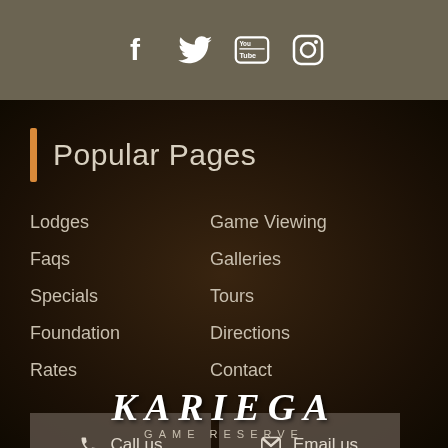[Figure (other): Social media icons: Facebook, Twitter, YouTube, Instagram on a tan/khaki background bar]
Popular Pages
Lodges
Game Viewing
Faqs
Galleries
Specials
Tours
Foundation
Directions
Rates
Contact
[Figure (other): Two buttons side by side: 'Call us' with phone icon, 'Email us' with envelope icon]
[Figure (logo): Kariega Game Reserve logo in white stylized text]